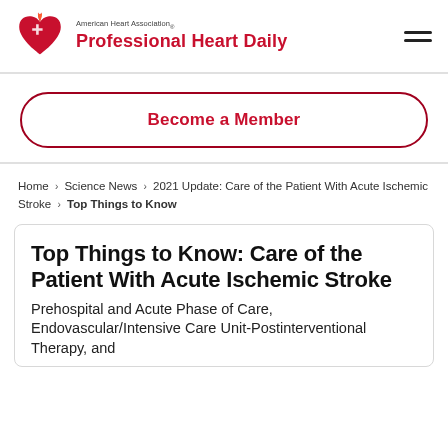American Heart Association. Professional Heart Daily
Become a Member
Home › Science News › 2021 Update: Care of the Patient With Acute Ischemic Stroke › Top Things to Know
Top Things to Know: Care of the Patient With Acute Ischemic Stroke
Prehospital and Acute Phase of Care, Endovascular/Intensive Care Unit-Postinterventional Therapy, and